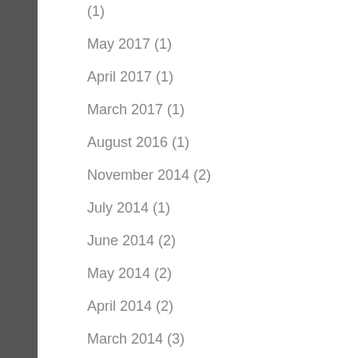(1)
May 2017 (1)
April 2017 (1)
March 2017 (1)
August 2016 (1)
November 2014 (2)
July 2014 (1)
June 2014 (2)
May 2014 (2)
April 2014 (2)
March 2014 (3)
February 2014 (4)
January 2014 (2)
December 2013 (3)
November 2013 (4)